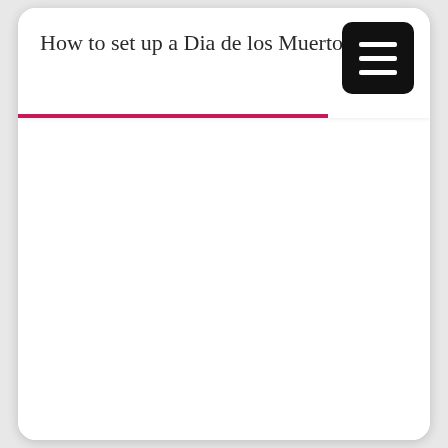How to set up a Dia de los Muertos al...